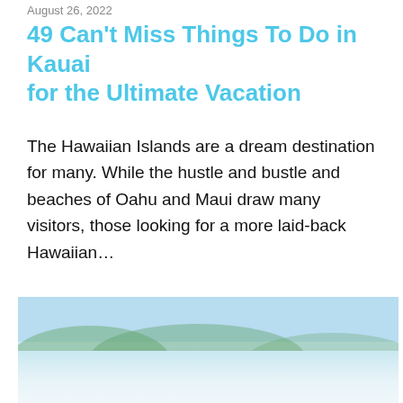August 26, 2022
49 Can't Miss Things To Do in Kauai for the Ultimate Vacation
The Hawaiian Islands are a dream destination for many. While the hustle and bustle and beaches of Oahu and Maui draw many visitors, those looking for a more laid-back Hawaiian…
[Figure (photo): Aerial coastal view of a tropical island with turquoise water, rocky outcrops, lush green hills, and a thatched-roof structure near the shore.]